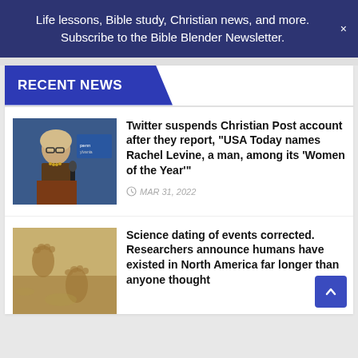Life lessons, Bible study, Christian news, and more. Subscribe to the Bible Blender Newsletter.
RECENT NEWS
[Figure (photo): Photo of Rachel Levine speaking at a podium with a microphone, Pennsylvania seal visible in background]
Twitter suspends Christian Post account after they report, “USA Today names Rachel Levine, a man, among its ‘Women of the Year’”
MAR 31, 2022
[Figure (photo): Photo of fossilized human footprints in sandy/rocky ground]
Science dating of events corrected. Researchers announce humans have existed in North America far longer than anyone thought